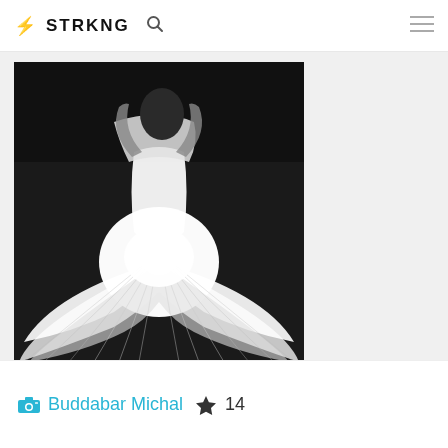⚡ STRKNG 🔍
[Figure (photo): Black and white photograph of a woman in a large flowing white pleated dress, arms raised, against a dark background. The dress fans out dramatically creating a wing-like or angel-like effect.]
Buddabar Michal ★ 14